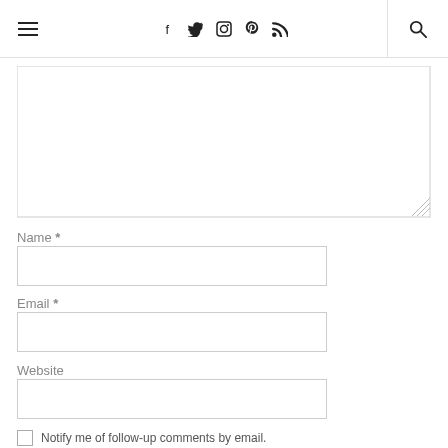≡  f  t  ⊡  ⊕  ⊃  🔍
[Figure (screenshot): Comment textarea input box, partially visible, with resize handle at bottom right]
Name *
[Figure (screenshot): Name text input field, empty]
Email *
[Figure (screenshot): Email text input field, empty]
Website
[Figure (screenshot): Website text input field, empty]
Notify me of follow-up comments by email.